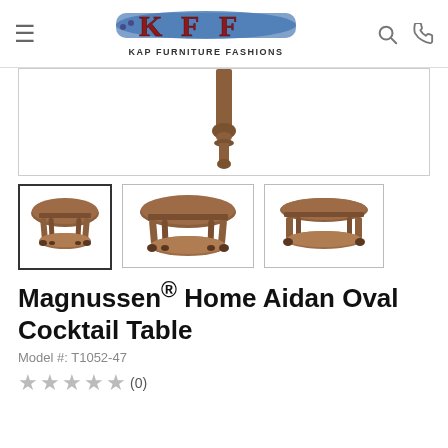[Figure (logo): KAP Furniture Fashions logo — KFF letters in dark red/maroon with blue swoosh/banner, text 'KAP FURNITURE FASHIONS' below]
[Figure (photo): Main product image: top portion of an oval wooden cocktail table leg/finial, partially visible, cut off at top of frame]
[Figure (photo): Thumbnail 1 (selected): Magnussen Home Aidan Oval Cocktail Table, front-angle view, brown wood with oval top and lower shelf]
[Figure (photo): Thumbnail 2: Same cocktail table, slightly different front angle]
[Figure (photo): Thumbnail 3: Same cocktail table, side/back angle, showing shelf detail]
Magnussen® Home Aidan Oval Cocktail Table
Model #: T1052-47
★★★★★ (0)